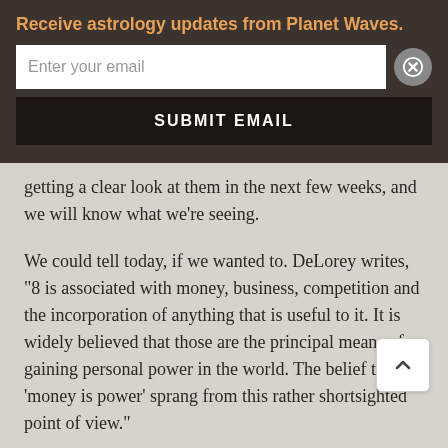Receive astrology updates from Planet Waves.
getting a clear look at them in the next few weeks, and we will know what we’re seeing.
We could tell today, if we wanted to. DeLorey writes, “8 is associated with money, business, competition and the incorporation of anything that is useful to it. It is widely believed that those are the principal means of gaining personal power in the world. The belief that ‘money is power’ sprang from this rather shortsighted point of view.”
For several reasons, the number 5 also comes up in the numerology. For example, the total of Aug